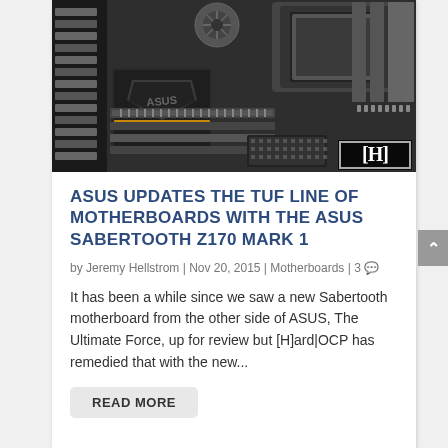[Figure (photo): Close-up photo of an ASUS TUF Sabertooth Z170 Mark 1 motherboard showing the CPU socket area, RAM slots, PCIe slots, ASUS branding on heatsink, and a 24-pin ATX power connector. A [H] logo badge is visible in the bottom right corner of the image.]
ASUS UPDATES THE TUF LINE OF MOTHERBOARDS WITH THE ASUS SABERTOOTH Z170 MARK 1
by Jeremy Hellstrom | Nov 20, 2015 | Motherboards | 3
It has been a while since we saw a new Sabertooth motherboard from the other side of ASUS, The Ultimate Force, up for review but [H]ard|OCP has remedied that with the new...
READ MORE